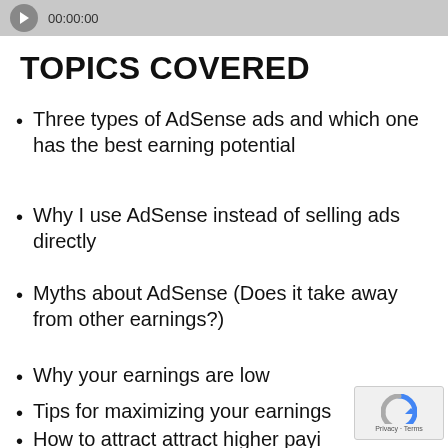[Figure (screenshot): Video player top bar showing play button and timestamp 00:00:00]
TOPICS COVERED
Three types of AdSense ads and which one has the best earning potential
Why I use AdSense instead of selling ads directly
Myths about AdSense (Does it take away from other earnings?)
Why your earnings are low
Tips for maximizing your earnings
How to attract attract higher paying ads by using custom channels